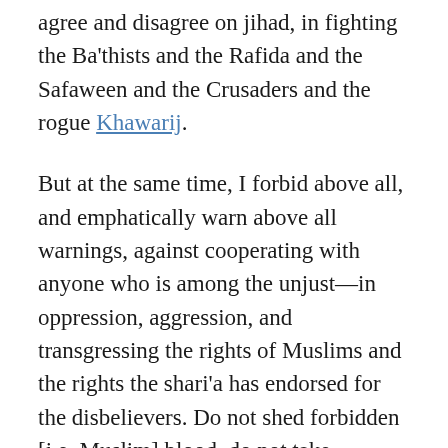agree and disagree on jihad, in fighting the Ba'thists and the Rafida and the Safaween and the Crusaders and the rogue Khawarij.
But at the same time, I forbid above all, and emphatically warn above all warnings, against cooperating with anyone who is among the unjust—in oppression, aggression, and transgressing the rights of Muslims and the rights the shari'a has endorsed for the disbelievers. Do not shed forbidden [i.e. Muslim] blood, do not take protected wealth, and do not violate the dignity, honour, or the glory of a Muslim, and do not harm a disbeliever where the shari'a protects his rights. And if you fail to do so, we